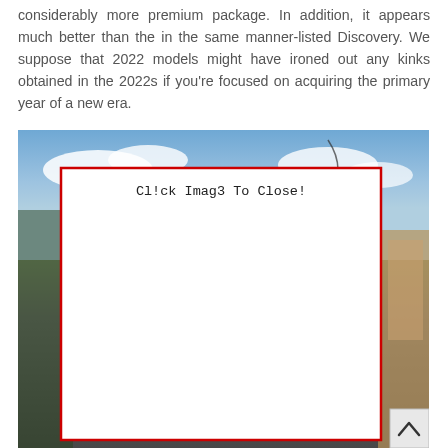considerably more premium package. In addition, it appears much better than the in the same manner-listed Discovery. We suppose that 2022 models might have ironed out any kinks obtained in the 2022s if you're focused on acquiring the primary year of a new era.
[Figure (screenshot): A photograph of an outdoor scene showing a parking lot or road area with trees and a building visible on the right side, blue sky with clouds in the background. Over the photo there is a large white rectangle with a red border containing the text 'Cl!ck Imag3 To Close!' and a scroll-to-top button in the bottom right corner.]